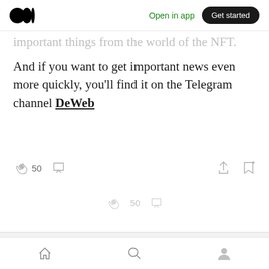Open in app | Get started
important things from the world of the NFT.
And if you want to get important news even more quickly, you'll find it on the Telegram channel DeWeb
50
50
More from ENVELOP (NIFTSY)
Home | Search | Profile